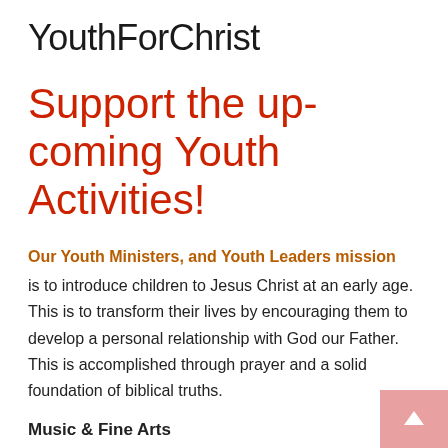YouthForChrist
Support the up-coming Youth Activities!
Our Youth Ministers, and Youth Leaders mission is to introduce children to Jesus Christ at an early age. This is to transform their lives by encouraging them to develop a personal relationship with God our Father. This is accomplished through prayer and a solid foundation of biblical truths.
Music & Fine Arts